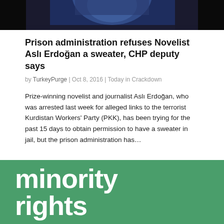[Figure (photo): Partial photo of a person wearing a blue patterned garment, dark background, cropped near the top of the page]
Prison administration refuses Novelist Aslı Erdoğan a sweater, CHP deputy says
by TurkeyPurge | Oct 8, 2016 | Today in Crackdown
Prize-winning novelist and journalist Aslı Erdoğan, who was arrested last week for alleged links to the terrorist Kurdistan Workers' Party (PKK), has been trying for the past 15 days to obtain permission to have a sweater in jail, but the prison administration has…
[Figure (illustration): Green background block with large white bold text reading 'minority rights' (partially visible)]